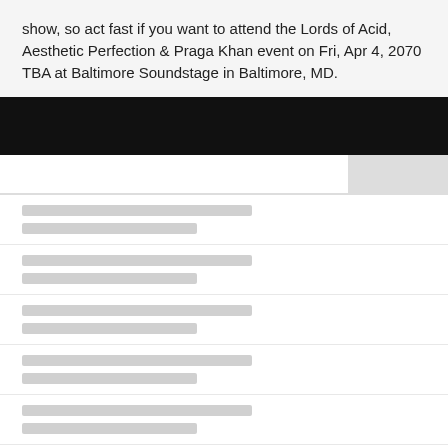show, so act fast if you want to attend the Lords of Acid, Aesthetic Perfection & Praga Khan event on Fri, Apr 4, 2070 TBA at Baltimore Soundstage in Baltimore, MD.
[Figure (screenshot): Black navigation/header bar]
[Figure (screenshot): White navigation area with gray box on right side, and list of rows with placeholder gray bars representing loading content]